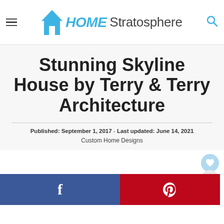[Figure (logo): Home Stratosphere website logo with house icon in blue and site name]
Stunning Skyline House by Terry & Terry Architecture
Published: September 1, 2017 - Last updated: June 14, 2021
Custom Home Designs
[Figure (infographic): Facebook share button (blue) and Pinterest share button (red) social sharing bar]